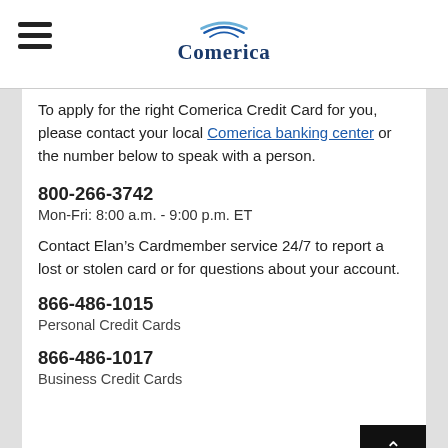Comerica
To apply for the right Comerica Credit Card for you, please contact your local Comerica banking center or the number below to speak with a person.
800-266-3742
Mon-Fri: 8:00 a.m. - 9:00 p.m. ET
Contact Elan’s Cardmember service 24/7 to report a lost or stolen card or for questions about your account.
866-486-1015
Personal Credit Cards
866-486-1017
Business Credit Cards